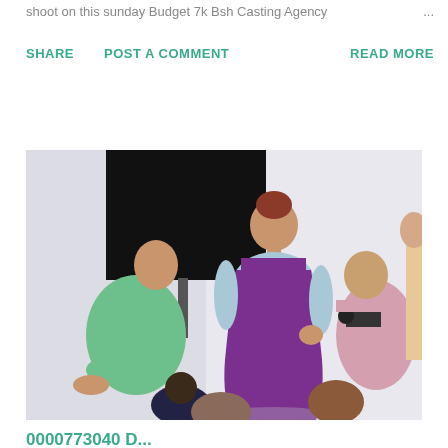shoot on this sunday Budget 7k Bsh Casting Agency ...
SHARE   POST A COMMENT   READ MORE
[Figure (photo): A fashion photo shoot scene with a model in a purple dress being photographed by a crew]
0000773040 D...